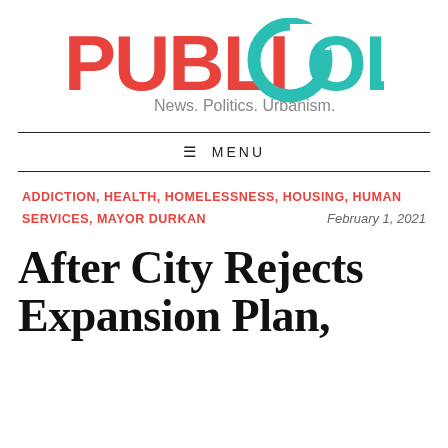[Figure (logo): PubliCola logo with red 'PUBLI' text and teal circular 'C' forming the 'C' in 'COLA', with tagline 'News. Politics. Urbanism.' below in gray]
≡ MENU
ADDICTION, HEALTH, HOMELESSNESS, HOUSING, HUMAN SERVICES, MAYOR DURKAN
February 1, 2021
After City Rejects Expansion Plan,